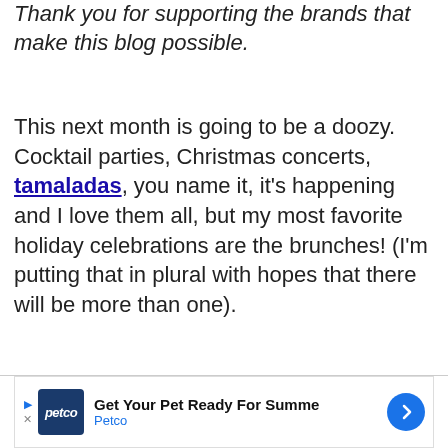Thank you for supporting the brands that make this blog possible.
This next month is going to be a doozy. Cocktail parties, Christmas concerts, tamaladas, you name it, it's happening and I love them all, but my most favorite holiday celebrations are the brunches! (I'm putting that in plural with hopes that there will be more than one).
[Figure (photo): Overhead photo of a bowl containing a pink pan dulce bread and white bread, surrounded by orange persimmons and other colorful fruits on a surface.]
Get Your Pet Ready For Summe
Petco